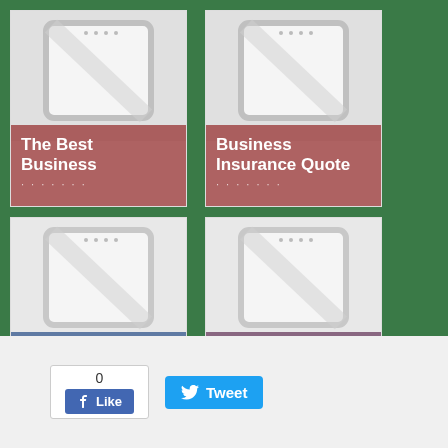[Figure (screenshot): Four card-style tiles on a green background showing business topics: 'The Best Business' (red label), 'Business Insurance Quote' (red/maroon label), 'Business Development' (blue label), 'Business Development Jobs' (purple label). Each card has a tablet/clipboard icon graphic.]
[Figure (infographic): Social sharing bar with Facebook like button showing count '0' and a blue Tweet button]